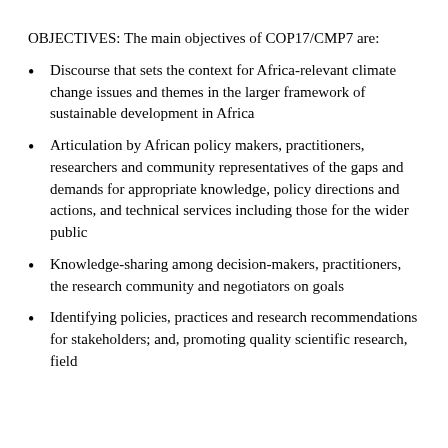OBJECTIVES: The main objectives of COP17/CMP7 are:
Discourse that sets the context for Africa-relevant climate change issues and themes in the larger framework of sustainable development in Africa
Articulation by African policy makers, practitioners, researchers and community representatives of the gaps and demands for appropriate knowledge, policy directions and actions, and technical services including those for the wider public
Knowledge-sharing among decision-makers, practitioners, the research community and negotiators on goals
Identifying policies, practices and research recommendations for stakeholders; and, promoting quality scientific research, field